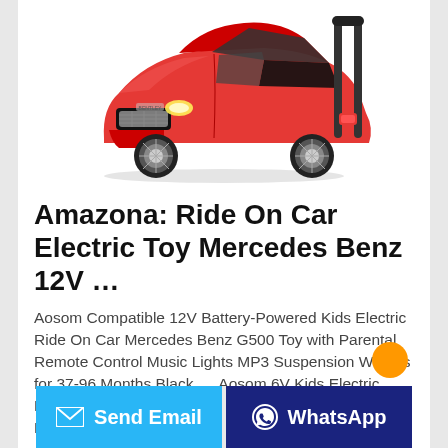[Figure (photo): Red toy ride-on car resembling a Bentley, viewed from front-left angle, with chrome wheels and black interior, on white background.]
Amazona: Ride On Car Electric Toy Mercedes Benz 12V …
Aosom Compatible 12V Battery-Powered Kids Electric Ride On Car Mercedes Benz G500 Toy with Parental Remote Control Music Lights MP3 Suspension Wheels for 37-96 Months Black. ... Aosom 6V Kids Electric Ride-On Motorcycle Battery Powered Car w/ Pedal Music Horn Headlights